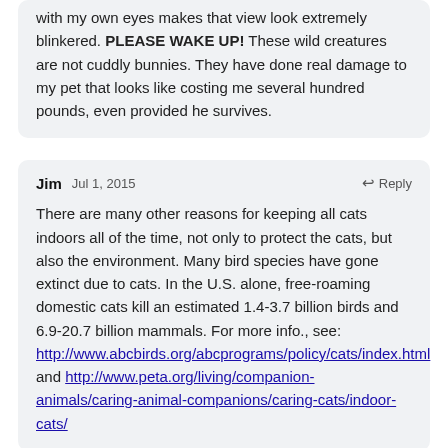with my own eyes makes that view look extremely blinkered. PLEASE WAKE UP! These wild creatures are not cuddly bunnies. They have done real damage to my pet that looks like costing me several hundred pounds, even provided he survives.
Jim  Jul 1, 2015  ↩ Reply
There are many other reasons for keeping all cats indoors all of the time, not only to protect the cats, but also the environment. Many bird species have gone extinct due to cats. In the U.S. alone, free-roaming domestic cats kill an estimated 1.4-3.7 billion birds and 6.9-20.7 billion mammals. For more info., see: http://www.abcbirds.org/abcprograms/policy/cats/index.html and http://www.peta.org/living/companion-animals/caring-animal-companions/caring-cats/indoor-cats/
Jim  Jul 1, 2015  ↩ Reply